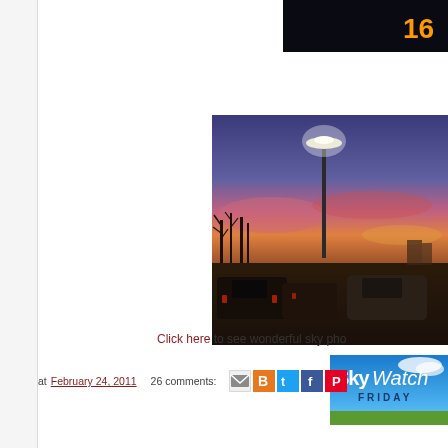[Figure (photo): Partial top photo — dark scene with orange score display, cropped at right]
[Figure (photo): Sunset over a parking lot with a tall street light against a vivid pink and blue sky; cars visible in the foreground; trees silhouetted on the left]
[Figure (photo): SkyWatch Friday badge/logo — blue sky background with text SkyWatch FRIDAY]
Click here to see wonderful sky pho
at February 24, 2011   26 comments: